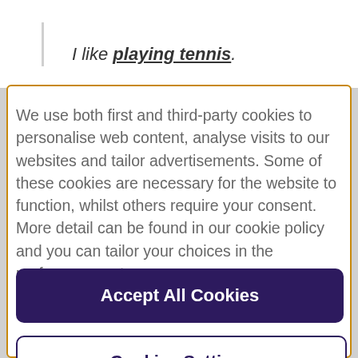I like playing tennis.
We use both first and third-party cookies to personalise web content, analyse visits to our websites and tailor advertisements. Some of these cookies are necessary for the website to function, whilst others require your consent. More detail can be found in our cookie policy and you can tailor your choices in the preference centre.
Accept All Cookies
Cookies Settings